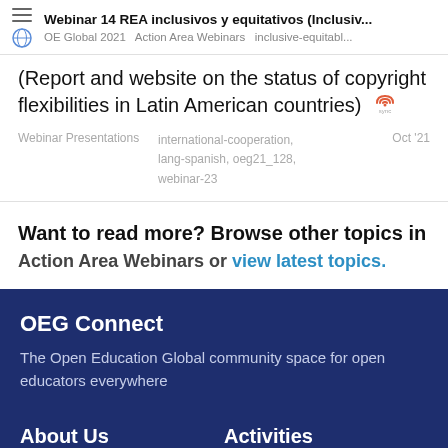Webinar 14 REA inclusivos y equitativos (Inclusiv... | OE Global 2021  Action Area Webinars  inclusive-equitabl...
(Report and website on the status of copyright flexibilities in Latin American countries)
Webinar Presentations  international-cooperation, lang-spanish, oeg21_128, webinar-23  Oct '21
Want to read more? Browse other topics in Action Area Webinars or view latest topics.
OEG Connect
The Open Education Global community space for open educators everywhere
About Us
Activities